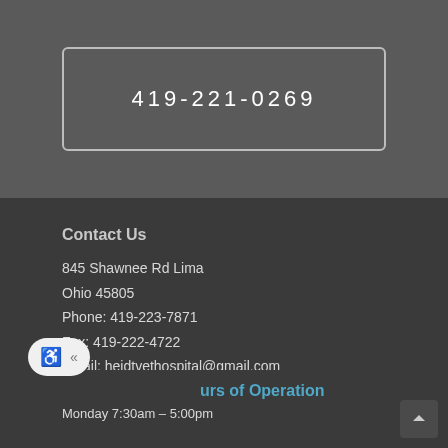419-221-0269
Contact Us
845 Shawnee Rd Lima
Ohio 45805
Phone: 419-223-7871
Fax: 419-222-4722
Email: heidtvethospital@gmail.com
Hours of Operation
Monday 7:30am – 5:00pm